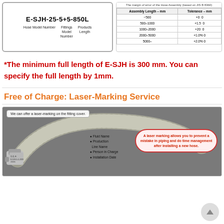[Figure (schematic): Hose model number diagram showing E-SJH-25-5+5-850L with labels: Hose Model Number, Fittings Model Number, Products Length]
| Assembly Length – mm | Tolerance – mm |
| --- | --- |
| ~500 | +0   0 |
| 500–1000 | +1.5   0 |
| 1000–2000 | +20   0 |
| 2000–5000 | +1.0%   0 |
| 5000– | +2.0%   0 |
*The minimum full length of E-SJH is 300 mm. You can specify the full length by 1mm.
Free of Charge: Laser-Marking Service
[Figure (photo): Photo of a flexible stainless steel braided hose with fitting cover showing laser marking, with callout text: 'We can offer a laser-marking on the fitting cover.' and bubble: 'A laser marking allows you to prevent a mistake in piping and do time management after installing a new hose.' and bullet points: Fluid Name, Production Line Name, Person in Charge, Installation Date]